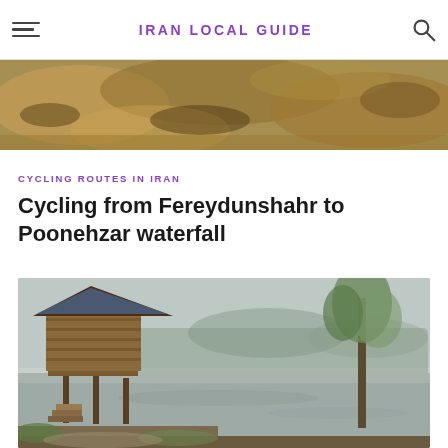IRAN LOCAL GUIDE
[Figure (photo): Rocky mountain landscape with golden-brown vegetation]
CYCLING ROUTES IN IRAN
Cycling from Fereydunshahr to Poonehzar waterfall
[Figure (photo): Misty lakeside scene with a wooden elevated hut on stilts, steps leading down, and a tree on the right bank, foggy forest in the background]